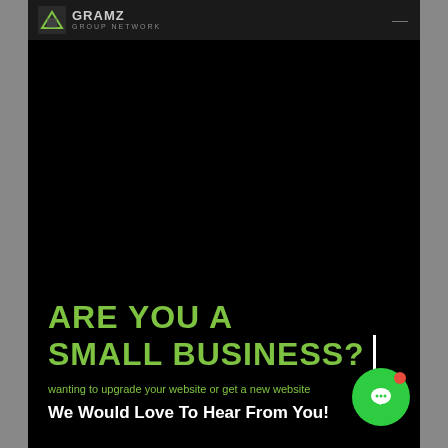Gramz Group Network
ARE YOU A SMALL BUSINESS?
wanting to upgrade your website or get a new website
We Would Love To Hear From You!